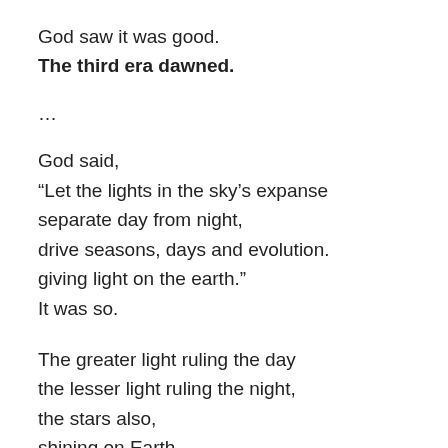God saw it was good.
The third era dawned.
…
God said,
“Let the lights in the sky’s expanse
separate day from night,
drive seasons, days and evolution.
giving light on the earth.”
It was so.
The greater light ruling the day
the lesser light ruling the night,
the stars also,
shining on Earth,
driving tides, seasons, evolution.
God saw it was good.